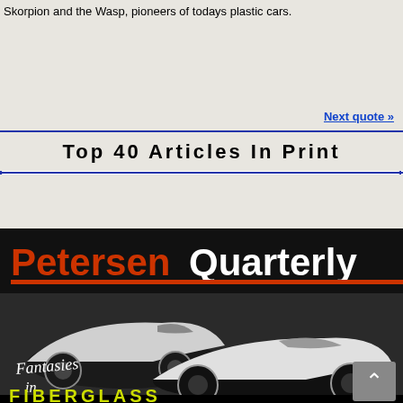Skorpion and the Wasp, pioneers of todays plastic cars.
Next quote »
Top  40  Articles  In  Print
[Figure (photo): Magazine cover of Petersen Quarterly, Winter 2009, Petersen Automotive Museum. Shows two white fiberglass sports cars in black and white photography. Text reads 'Petersen Quarterly' in orange and white, with 'Fantasies in FIBERGLASS' at the bottom in stylized script and yellow block letters.]